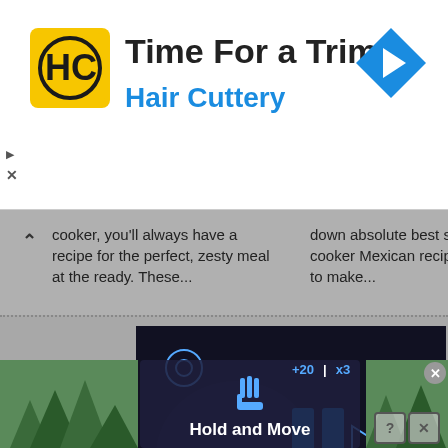[Figure (screenshot): Hair Cuttery advertisement banner with yellow HC logo, headline 'Time For a Trim?', subtext 'Hair Cuttery', and a blue navigation arrow icon on the right. Small play and X icons on the left margin.]
cooker, you'll always have a recipe for the perfect, zesty meal at the ready. These...
down absolute best slow cooker Mexican recipes for you to make...
[Figure (screenshot): Dark video thumbnail showing a slow cooker with blue UI play/pause buttons overlay and a mute icon in the bottom left.]
[Figure (screenshot): Bottom game/app advertisement showing 'Hold and Move' instruction with hand icon, score bar showing +20 and x3, and trees in the background. Help and X buttons in bottom right corner.]